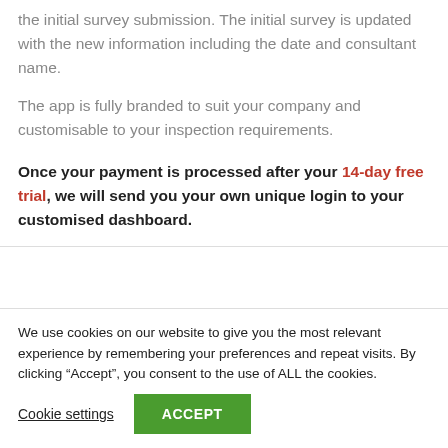the initial survey submission. The initial survey is updated with the new information including the date and consultant name.
The app is fully branded to suit your company and customisable to your inspection requirements.
Once your payment is processed after your 14-day free trial, we will send you your own unique login to your customised dashboard.
We use cookies on our website to give you the most relevant experience by remembering your preferences and repeat visits. By clicking “Accept”, you consent to the use of ALL the cookies.
Cookie settings
ACCEPT